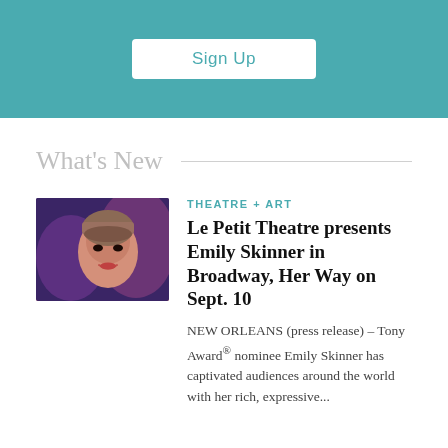[Figure (other): Teal/turquoise signup banner with a white Sign Up button in the center]
What's New
[Figure (photo): Portrait photo of a woman with short bangs and theatrical makeup against a purple/blue background]
THEATRE + ART
Le Petit Theatre presents Emily Skinner in Broadway, Her Way on Sept. 10
NEW ORLEANS (press release) – Tony Award® nominee Emily Skinner has captivated audiences around the world with her rich, expressive...